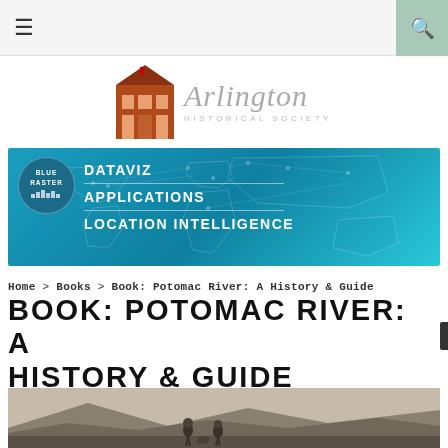≡  🔍
[Figure (logo): Arlington Historical Society logo with building image and script text]
[Figure (infographic): Blue Raster banner advertisement with world map background. Text: DATAVIZ / APPLICATIONS / LOCATION INTELLIGENCE]
Home > Books > Book: Potomac River: A History & Guide
BOOK: POTOMAC RIVER: A HISTORY & GUIDE
[Figure (photo): Historical black and white photo of two people standing outdoors in a mountainous or rural landscape]